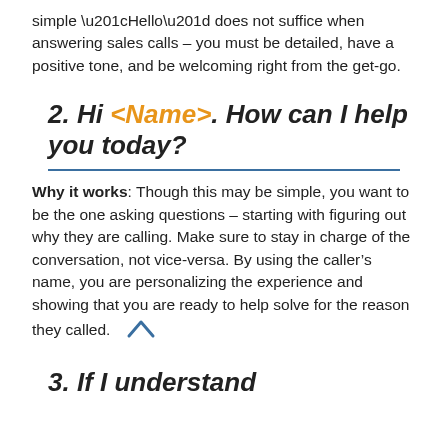simple “Hello” does not suffice when answering sales calls – you must be detailed, have a positive tone, and be welcoming right from the get-go.
2. Hi <Name>. How can I help you today?
Why it works: Though this may be simple, you want to be the one asking questions – starting with figuring out why they are calling. Make sure to stay in charge of the conversation, not vice-versa. By using the caller’s name, you are personalizing the experience and showing that you are ready to help solve for the reason they called.
3. If I understand